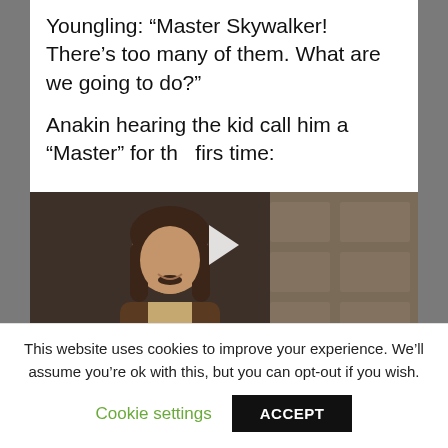Youngling: “Master Skywalker! There’s too many of them. What are we going to do?”

Anakin hearing the kid call him a “Master” for the firs time:
[Figure (screenshot): Video screenshot of a man with curly dark hair and mustache wearing a brown vest, with subtitle text reading 'You seem a decent fellow. I hate to kill you.' A play button triangle is overlaid at the top center.]
This website uses cookies to improve your experience. We’ll assume you’re ok with this, but you can opt-out if you wish.
Cookie settings    ACCEPT